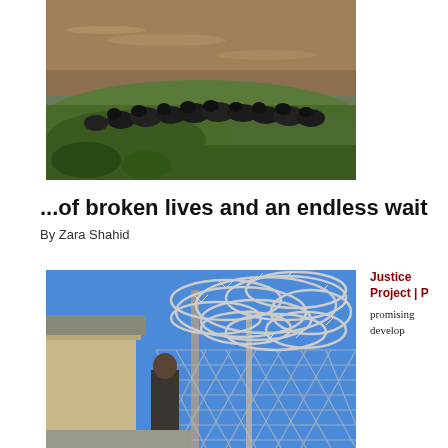[Figure (photo): Aerial view of a herd of black water buffalo or cattle gathered along the bank of a flooded muddy river or rice field, with green vegetation in the foreground and murky brown water in the background.]
...of broken lives and an endless wait
By Zara Shahid
[Figure (photo): Close-up photo of razor wire (concertina wire) coiled on top of a chain-link security fence, with a blue sky background and a building with a metal roof visible at the left side. A guard or person is partially visible behind the fence.]
Justice Project | promising develop